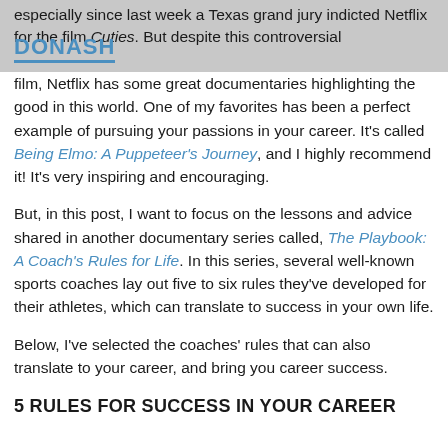especially since last week a Texas grand jury indicted Netflix for the film Cuties. But despite this controversial
film, Netflix has some great documentaries highlighting the good in this world. One of my favorites has been a perfect example of pursuing your passions in your career. It’s called Being Elmo: A Puppeteer’s Journey, and I highly recommend it! It’s very inspiring and encouraging.
But, in this post, I want to focus on the lessons and advice shared in another documentary series called, The Playbook: A Coach’s Rules for Life. In this series, several well-known sports coaches lay out five to six rules they’ve developed for their athletes, which can translate to success in your own life.
Below, I’ve selected the coaches’ rules that can also translate to your career, and bring you career success.
5 RULES FOR SUCCESS IN YOUR CAREER